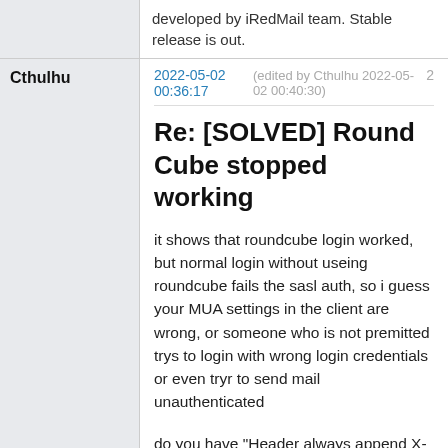developed by iRedMail team. Stable release is out.
Cthulhu
2022-05-02 00:36:17 (edited by Cthulhu 2022-05-02 00:40:30)   2
Re: [SOLVED] Round Cube stopped working
it shows that roundcube login worked, but normal login without useing roundcube fails the sasl auth, so i guess your MUA settings in the client are wrong, or someone who is not premitted trys to login with wrong login credentials or even tryr to send mail unauthenticated
do you have "Header always append X-Frame-Options DENY" ?